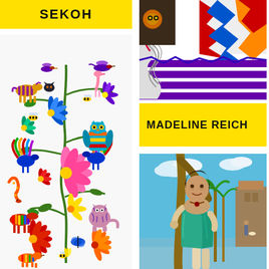SEKOH
[Figure (illustration): Colorful Mexican Otomi-style folk art illustration with birds, flowers, peacocks, horses, butterflies, bees, cats, and a snake on a white background. Vibrant colors including pink, blue, red, yellow, green, and purple.]
[Figure (illustration): Abstract colorful painting with swirling white forms, purple horizontal stripes, and multicolored geometric patterns in red, blue, orange.]
MADELINE REICH
[Figure (photo): Realistic portrait painting of a smiling woman with dark hair wearing a teal/green kaftan, leaning against a tree in an outdoor tropical setting with blue sky, palm trees, and a street scene in the background.]